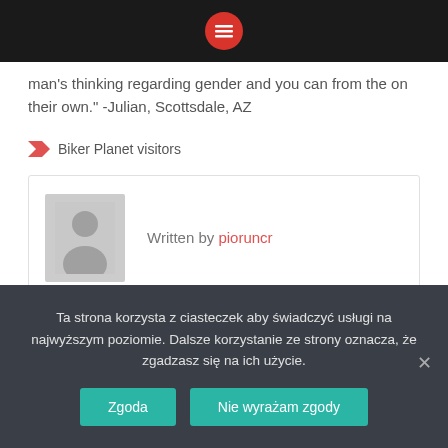[Figure (screenshot): Top navigation bar with black background and red circle hamburger menu icon in the center]
man's thinking regarding gender and you can from the on their own." -Julian, Scottsdale, AZ
Biker Planet visitors
Written by pioruncr
Ta strona korzysta z ciasteczek aby świadczyć usługi na najwyższym poziomie. Dalsze korzystanie ze strony oznacza, że zgadzasz się na ich użycie.